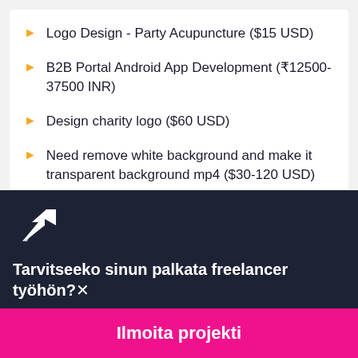Logo Design - Party Acupuncture ($15 USD)
B2B Portal Android App Development (₹12500-37500 INR)
Design charity logo ($60 USD)
Need remove white background and make it transparent background mp4 ($30-120 USD)
[Figure (logo): Freelancer hummingbird logo in white on dark background]
Tarvitseeko sinun palkata freelancer työhön?
Ilmoita projekti